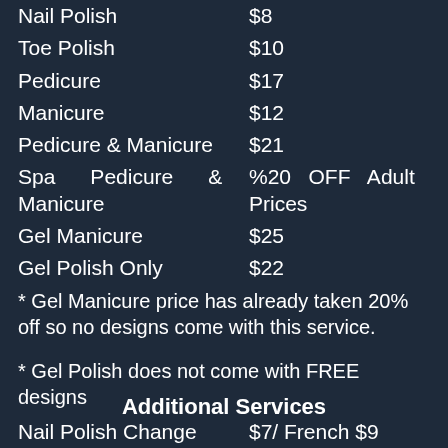| Service | Price |
| --- | --- |
| Nail Polish | $8 |
| Toe Polish | $10 |
| Pedicure | $17 |
| Manicure | $12 |
| Pedicure & Manicure | $21 |
| Spa Pedicure & Manicure | %20 OFF Adult Prices |
| Gel Manicure | $25 |
| Gel Polish Only | $22 |
* Gel Manicure price has already taken 20% off so no designs come with this service.
* Gel Polish does not come with FREE designs
Additional Services
| Service | Price |
| --- | --- |
| Nail Polish Change | $7/ French $9 |
| Toe Polish Change | $12/ French $15 |